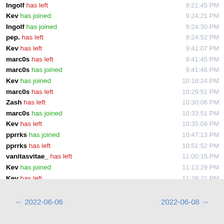Ingolf has left  9:21:45 PM
Kev has joined  9:24:21 PM
Ingolf has joined  9:24:30 PM
pep. has left  9:24:52 PM
Kev has left  9:41:07 PM
marc0s has left  9:41:45 PM
marc0s has joined  9:41:46 PM
Kev has joined  10:18:24 PM
marc0s has left  10:29:51 PM
Zash has left  10:30:06 PM
marc0s has joined  10:33:51 PM
Kev has left  10:35:09 PM
pprrks has joined  10:47:13 PM
pprrks has left  10:51:52 PM
vanitasvitae_ has left  11:00:15 PM
Kev has joined  11:13:29 PM
Kev has left  11:29:21 PM
neox has left  11:41:51 PM
Zash has joined  11:42:23 PM
← 2022-06-06    2022-06-08 →